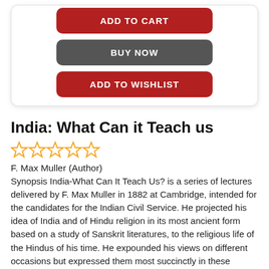[Figure (screenshot): E-commerce product page buttons: ADD TO CART (red), BUY NOW (gray), ADD TO WISHLIST (red)]
India: What Can it Teach us
[Figure (other): 5 empty star rating icons in gold/yellow]
F. Max Muller (Author)
Synopsis India-What Can It Teach Us? is a series of lectures delivered by F. Max Muller in 1882 at Cambridge, intended for the candidates for the Indian Civil Service. He projected his idea of India and of Hindu religion in its most ancient form based on a study of Sanskrit literatures, to the religious life of the Hindus of his time. He expounded his views on different occasions but expressed them most succinctly in these lectures. Max Muller vehemently denounced the habitual denigration of the Indian character by those Englishmen who lived in India or had first-hand